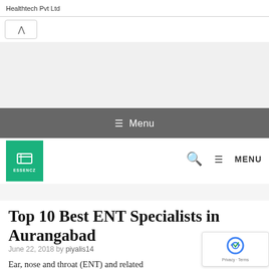Healthtech Pvt Ltd
[Figure (screenshot): Website navigation bar with chevron/collapse button]
Menu
[Figure (logo): ESSENCZ logo - green square with icon and text]
MENU
Top 10 Best ENT Specialists in Aurangabad
June 22, 2018 by piyalis14
Ear, nose and throat (ENT) and related